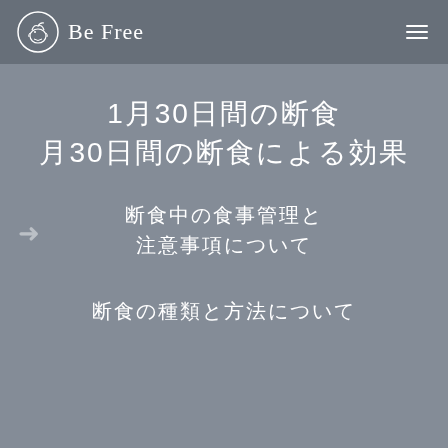Be Free
1月30日間の断食
月30日間の断食による効果
断食中の食事管理と
注意事項について
断食の種類と方法について